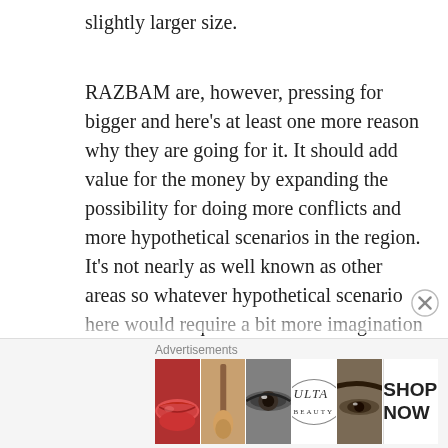slightly larger size.
RAZBAM are, however, pressing for bigger and here’s at least one more reason why they are going for it. It should add value for the money by expanding the possibility for doing more conflicts and more hypothetical scenarios in the region. It’s not nearly as well known as other areas so whatever hypothetical scenario here would require a bit more imagination but it does really open the door to a place in the world that isn’t the hills and mountains of the Caucasus, nor the deserts of Persian Gulf, Nevada and to some extent Syria. This is something different.
Advertisements
[Figure (photo): Advertisement banner showing cosmetic/makeup imagery with lips, brushes, eyes, Ulta Beauty logo, and a SHOP NOW call to action button]